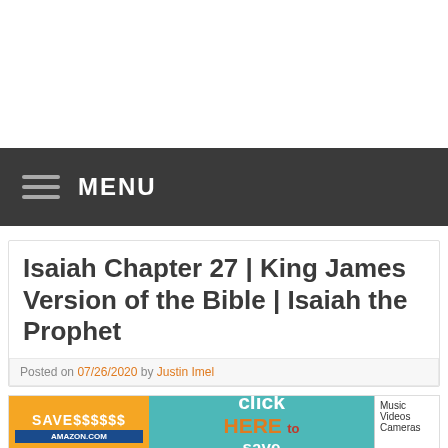MENU
Isaiah Chapter 27 | King James Version of the Bible | Isaiah the Prophet
Posted on 07/26/2020 by Justin Imel
[Figure (illustration): Amazon.com Outlet advertisement banner: 'SAVE$$$$$$', 'AMAZON.COM OUTLET', 'click HERE to save BIG on:', with categories Music, Videos, Cameras listed on the right]